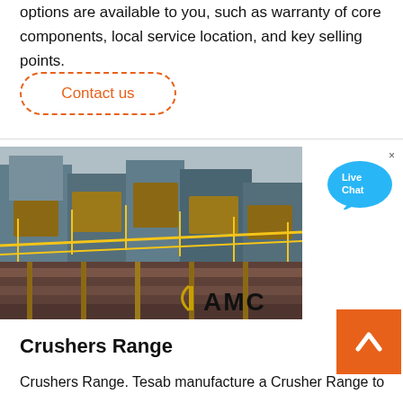options are available to you, such as warranty of core components, local service location, and key selling points.
Contact us
[Figure (photo): Industrial crusher/mining facility aerial view with yellow scaffolding and machinery, AMC logo in bottom right corner]
[Figure (infographic): Live Chat speech bubble button in blue]
[Figure (other): Back to top orange button with upward arrow]
Crushers Range
Crushers Range. Tesab manufacture a Crusher Range to